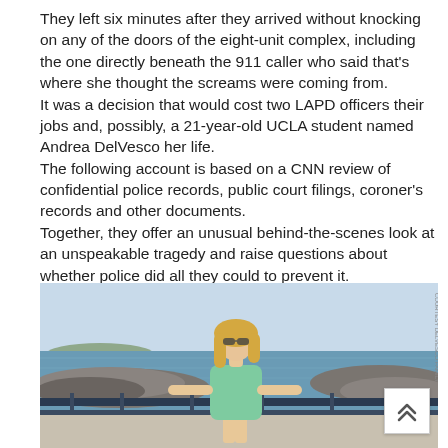They left six minutes after they arrived without knocking on any of the doors of the eight-unit complex, including the one directly beneath the 911 caller who said that's where she thought the screams were coming from. It was a decision that would cost two LAPD officers their jobs and, possibly, a 21-year-old UCLA student named Andrea DelVesco her life. The following account is based on a CNN review of confidential police records, public court filings, coroner's records and other documents. Together, they offer an unusual behind-the-scenes look at an unspeakable tragedy and raise questions about whether police did all they could to prevent it.
[Figure (photo): Young woman with long blonde hair wearing a mint green romper and sunglasses, standing on a dock or ferry deck with rocky breakwater and blue ocean in the background.]